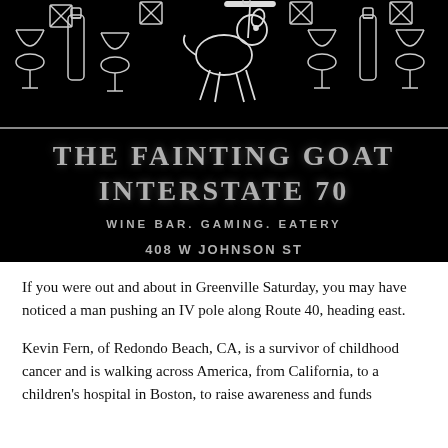[Figure (illustration): Black background banner image with white line-art illustrations of wine bottles, glasses, and a fainting goat (waiter). Below a horizontal divider line is text: THE FAINTING GOAT INTERSTATE 70, WINE BAR. GAMING. EATERY, 408 W JOHNSON ST POCAHONTAS, IL]
If you were out and about in Greenville Saturday, you may have noticed a man pushing an IV pole along Route 40, heading east.
Kevin Fern, of Redondo Beach, CA, is a survivor of childhood cancer and is walking across America, from California, to a children's hospital in Boston, to raise awareness and funds